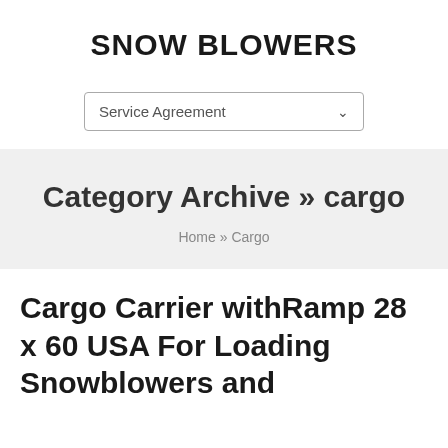SNOW BLOWERS
Service Agreement
Category Archive » cargo
Home » Cargo
Cargo Carrier withRamp 28 x 60 USA For Loading Snowblowers and